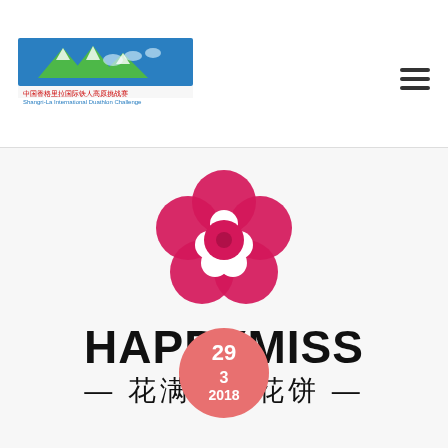[Figure (logo): Shangri-La International Duathlon Challenge logo with horses and mountains, with Chinese text below]
[Figure (logo): HappyMiss brand flower logo in pink/crimson, stylized petals forming a circular flower shape]
HAPPYMISS
— 花满楼鲜花饼 —
29
3
2018